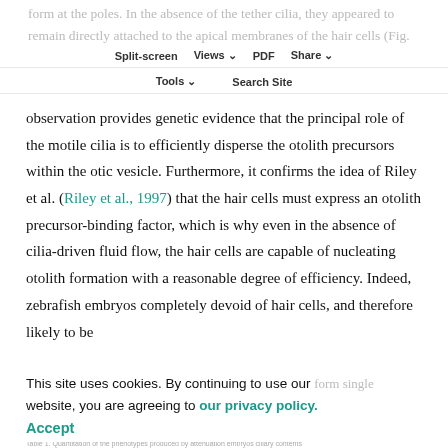form at the poles. In the absence of the tether cilia, they appeared to remain directly attached to the apical membranes of the hair cells (Fig. 3C-D; see Table 1 for quantitation of this and other phenotypes). This
Split-screen | Views | PDF | Share | Tools | Search Site
observation provides genetic evidence that the principal role of the motile cilia is to efficiently disperse the otolith precursors within the otic vesicle. Furthermore, it confirms the idea of Riley et al. (Riley et al., 1997) that the hair cells must express an otolith precursor-binding factor, which is why even in the absence of cilia-driven fluid flow, the hair cells are capable of nucleating otolith formation with a reasonable degree of efficiency. Indeed, zebrafish embryos completely devoid of hair cells, and therefore likely to be
This site uses cookies. By continuing to use our website, you are agreeing to our privacy policy. Accept
form single unattached otolith masses instead of the...
Table 1. Quantitation of the phenotypes produced by attenuation embryos ciliary contents